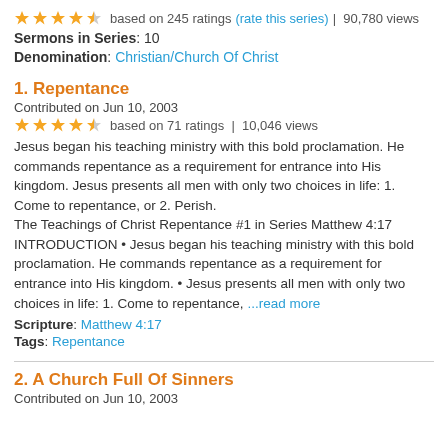★★★★½ based on 245 ratings (rate this series) | 90,780 views
Sermons in Series: 10
Denomination: Christian/Church Of Christ
1. Repentance
Contributed on Jun 10, 2003
★★★★½ based on 71 ratings | 10,046 views
Jesus began his teaching ministry with this bold proclamation. He commands repentance as a requirement for entrance into His kingdom. Jesus presents all men with only two choices in life: 1. Come to repentance, or 2. Perish. The Teachings of Christ Repentance #1 in Series Matthew 4:17 INTRODUCTION • Jesus began his teaching ministry with this bold proclamation. He commands repentance as a requirement for entrance into His kingdom. • Jesus presents all men with only two choices in life: 1. Come to repentance, ...read more
Scripture: Matthew 4:17
Tags: Repentance
2. A Church Full Of Sinners
Contributed on Jun 10, 2003